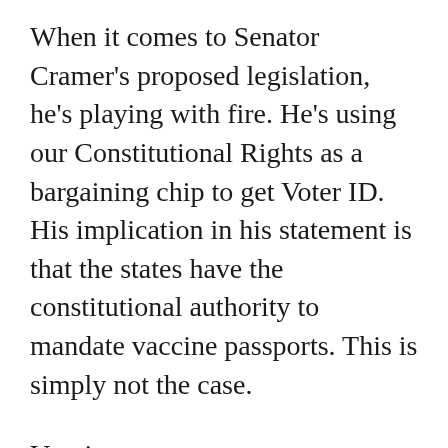When it comes to Senator Cramer's proposed legislation, he's playing with fire. He's using our Constitutional Rights as a bargaining chip to get Voter ID. His implication in his statement is that the states have the constitutional authority to mandate vaccine passports. This is simply not the case.
Vaccine passports are unconstitutional because they result in our Constitutional Rights being stripped away from us. It takes away our ability to peaceably assemble and to worship God without restriction from